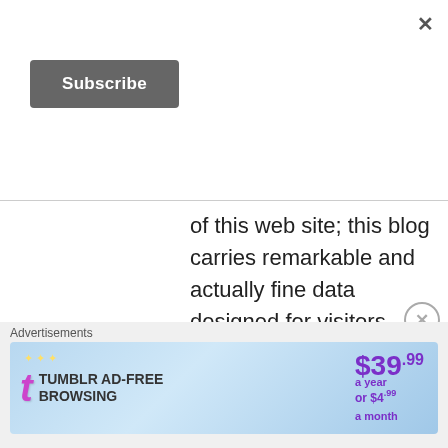[Figure (other): Close (X) button in top right corner of overlay]
[Figure (other): Subscribe button (dark gray rounded rectangle)]
of this web site; this blog carries remarkable and actually fine data designed for visitors.
[Figure (other): Like button with blue star icon and 'Like' text]
[Figure (other): VPN without DNS leaks logo — red diamond pattern]
VPN without DNS leaks
[Figure (other): LOG IN TO REPLY green button]
5 years ago
[Figure (other): Circle X close button]
Advertisements
[Figure (other): Tumblr AD-FREE BROWSING advertisement banner showing $39.99 a year or $4.99 a month]